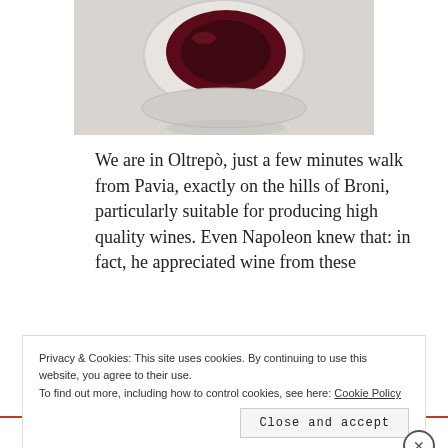[Figure (photo): Overhead view of a glass of red wine on a white surface]
We are in Oltrepò, just a few minutes walk from Pavia, exactly on the hills of Broni, particularly suitable for producing high quality wines. Even Napoleon knew that: in fact, he appreciated wine from these
Privacy & Cookies: This site uses cookies. By continuing to use this website, you agree to their use.
To find out more, including how to control cookies, see here: Cookie Policy
Close and accept
Advertisements